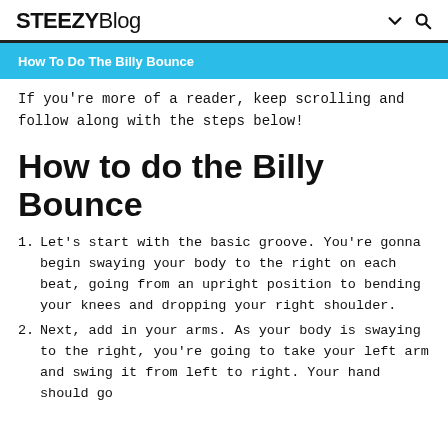STEEZYBlog
How To Do The Billy Bounce
If you're more of a reader, keep scrolling and follow along with the steps below!
How to do the Billy Bounce
Let's start with the basic groove. You're gonna begin swaying your body to the right on each beat, going from an upright position to bending your knees and dropping your right shoulder.
Next, add in your arms. As your body is swaying to the right, you're going to take your left arm and swing it from left to right. Your hand should go